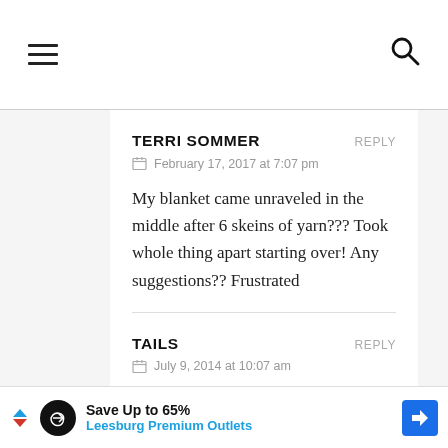Navigation bar with hamburger menu and search icon
TERRI SOMMER   REPLY
February 17, 2017 at 7:07 pm
My blanket came unraveled in the middle after 6 skeins of yarn??? Took whole thing apart starting over! Any suggestions?? Frustrated
TAILS   REPLY
July 9, 2014 at 10:07 am
[Figure (other): Advertisement banner: Save Up to 65% Leesburg Premium Outlets with logo and navigation arrow icon]